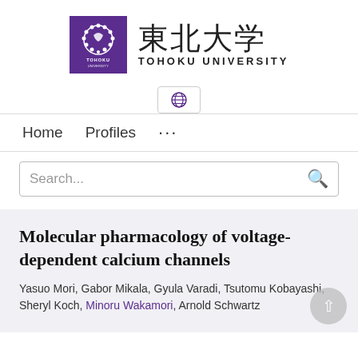[Figure (logo): Tohoku University logo: purple square with circular emblem and TOHOKU UNIVERSITY text, followed by Japanese characters 東北大学 and TOHOKU UNIVERSITY in bold]
[Figure (other): Globe/language selector button]
Home   Profiles   ...
Search...
Molecular pharmacology of voltage-dependent calcium channels
Yasuo Mori, Gabor Mikala, Gyula Varadi, Tsutomu Kobayashi, Sheryl Koch, Minoru Wakamori, Arnold Schwartz